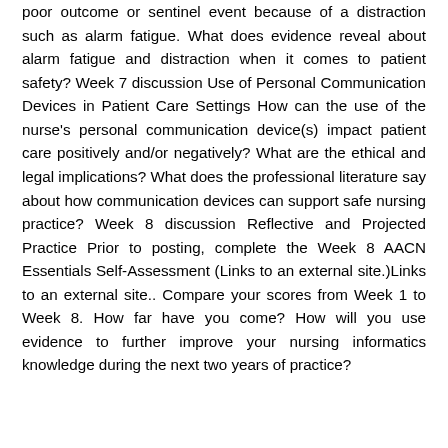poor outcome or sentinel event because of a distraction such as alarm fatigue. What does evidence reveal about alarm fatigue and distraction when it comes to patient safety? Week 7 discussion Use of Personal Communication Devices in Patient Care Settings How can the use of the nurse's personal communication device(s) impact patient care positively and/or negatively? What are the ethical and legal implications? What does the professional literature say about how communication devices can support safe nursing practice? Week 8 discussion Reflective and Projected Practice Prior to posting, complete the Week 8 AACN Essentials Self-Assessment (Links to an external site.)Links to an external site.. Compare your scores from Week 1 to Week 8. How far have you come? How will you use evidence to further improve your nursing informatics knowledge during the next two years of practice?